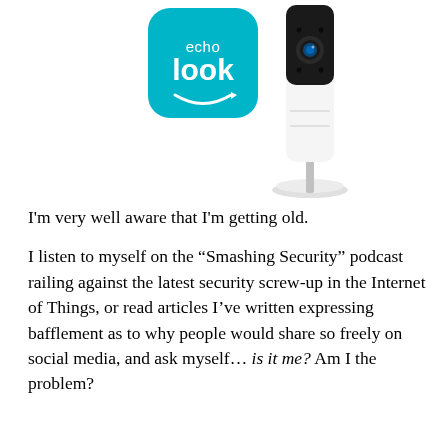[Figure (illustration): Amazon Echo Look product image with the teal Echo Look app icon (showing 'echo look' text with Amazon smile) on the left, and the physical Echo Look camera device (tall white device with black top on a white stand) on the right.]
I'm very well aware that I'm getting old.

I listen to myself on the “Smashing Security” podcast railing against the latest security screw-up in the Internet of Things, or read articles I’ve written expressing bafflement as to why people would share so freely on social media, and ask myself… is it me? Am I the problem?